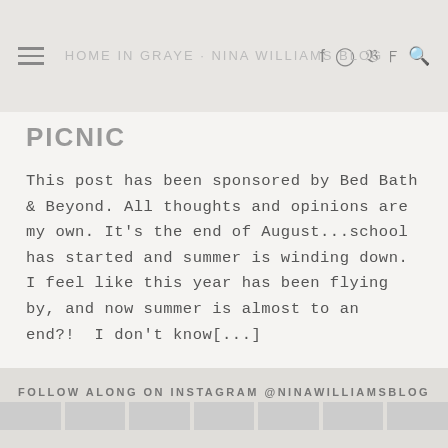HOME IN GRAYE · NINA WILLIAMS BLOG
PICNIC
This post has been sponsored by Bed Bath & Beyond. All thoughts and opinions are my own. It's the end of August...school has started and summer is winding down.  I feel like this year has been flying by, and now summer is almost to an end?!  I don't know[...]
READ MORE →
FOLLOW ALONG ON INSTAGRAM @NINAWILLIAMSBLOG